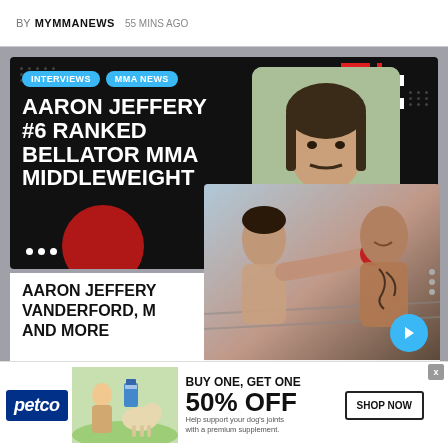BY MYMMANEWS   55 MINS AGO
[Figure (screenshot): Video thumbnail for Aaron Jeffery interview — dark background with INTERVIEWS and MMA NEWS tags, bold white text reading AARON JEFFERY #6 RANKED BELLATOR MMA MIDDLEWEIGHT, and a photo of a man with long hair and mustache on the right]
AARON JEFFERY VANDERFORD, M AND MORE
[Figure (photo): Two MMA fighters exchanging punches in a boxing ring, one with tattoos and red hand wraps, with a blue arrow button overlay and caption reading Joe Elmore onConner]
Joe Elmore onConner
[Figure (screenshot): Petco advertisement banner: BUY ONE, GET ONE 50% OFF — Help support your dog's joints with a premium supplement. SHOP NOW button. Shows woman with dog and supplement product.]